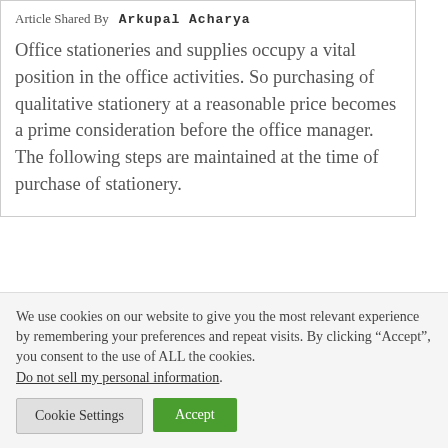Article Shared By   Arkupal Acharya
Office stationeries and supplies occupy a vital position in the office activities. So purchasing of qualitative stationery at a reasonable price becomes a prime consideration before the office manager. The following steps are maintained at the time of purchase of stationery.
We use cookies on our website to give you the most relevant experience by remembering your preferences and repeat visits. By clicking “Accept”, you consent to the use of ALL the cookies. Do not sell my personal information.
Cookie Settings
Accept